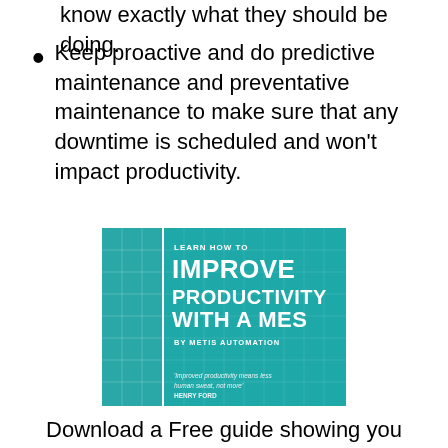know exactly what they should be doing.
Keep proactive and do predictive maintenance and preventative maintenance to make sure that any downtime is scheduled and won't impact productivity.
[Figure (illustration): Book cover titled 'LEARN HOW TO IMPROVE PRODUCTIVITY WITH A MES BY METIS AUTOMATION' with teal/turquoise background. Quote at bottom: 'Improved productivity means less human sweat, not more' HENRY FORD]
Download a Free guide showing you